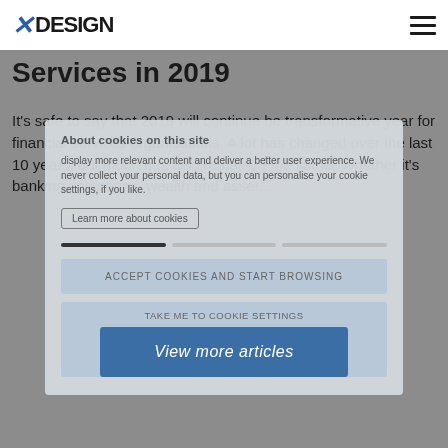XDESIGN
Services in 2019
It's safe to say that 2019 will continue be transformative year for financial services organisations. A lot has changed over the last 10 years, but much has also remained the same. Whether it's banking, insurance, wealth and asset…
About cookies on this site
display more relevant content and deliver a better user experience. We never collect your personal data, but you can personalise your cookie settings, if you like.
Learn more about cookies
Accept cookies and start browsing
Take me to cookie settings
View more articles